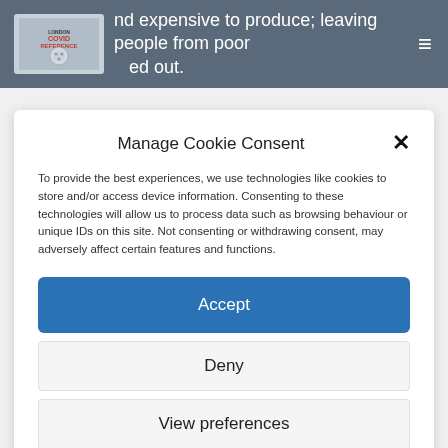nd expensive to produce; leaving people from poor ... ed out.
Manage Cookie Consent
To provide the best experiences, we use technologies like cookies to store and/or access device information. Consenting to these technologies will allow us to process data such as browsing behaviour or unique IDs on this site. Not consenting or withdrawing consent, may adversely affect certain features and functions.
Accept
Deny
View preferences
Cookie Policy   Privacy Policy